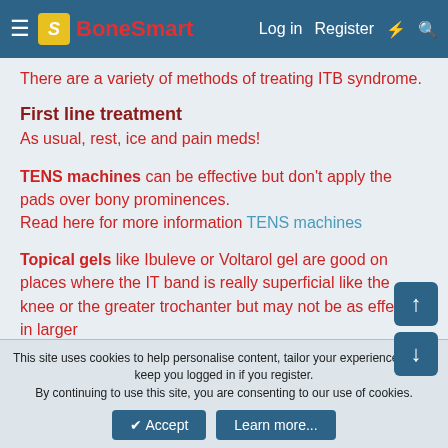BoneSmart — Log in  Register
There are a variety of methods of treating ITB syndrome.
First line treatment
As usual, rest, ice and pain meds!
TENS machines can be effective but don't apply the pads over bony prominences.
Read here for more information TENS machines
Topical gels like Ibuleve or Voltarol gel are good on places where the IT band is really superficial like the knee or the greater trochanter but may not be as effective in larger
This site uses cookies to help personalise content, tailor your experience and to keep you logged in if you register.
By continuing to use this site, you are consenting to our use of cookies.